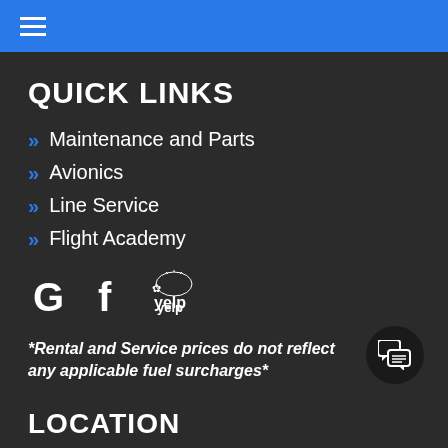Navigation menu (hamburger icon on blue bar)
QUICK LINKS
Maintenance and Parts
Avionics
Line Service
Flight Academy
[Figure (logo): Google, Facebook, and Yelp social/review icons]
*Rental and Service prices do not reflect any applicable fuel surcharges*
LOCATION